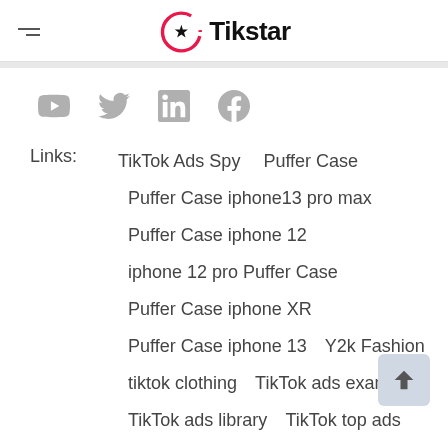Tikstar
[Figure (illustration): Social media icons row: YouTube, Twitter, LinkedIn, Facebook — all in light gray]
Links:   TikTok Ads Spy   Puffer Case
Puffer Case iphone13 pro max
Puffer Case iphone 12
iphone 12 pro Puffer Case
Puffer Case iphone XR
Puffer Case iphone 13   Y2k Fashion
tiktok clothing   TikTok ads example
TikTok ads library   TikTok top ads
Best TikTok ads   TikTok Blog
TikTok utm parameters